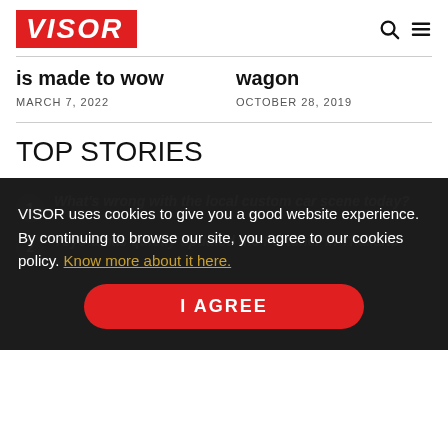[Figure (logo): VISOR logo in red box with white bold italic text]
is made to wow
wagon
MARCH 7, 2022
OCTOBER 28, 2019
TOP STORIES
What's wrong with the local custom car scene today?
Toyota has quietly updated the Fortuner in Thailand
VISOR uses cookies to give you a good website experience. By continuing to browse our site, you agree to our cookies policy. Know more about it here.
I AGREE